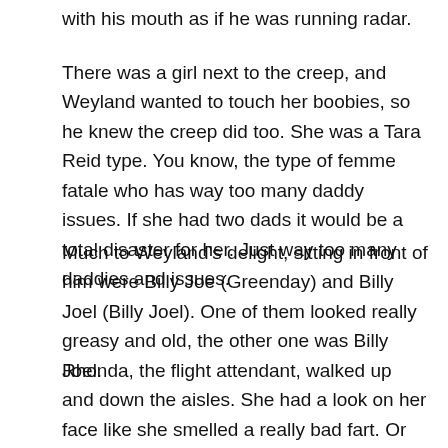with his mouth as if he was running radar.
There was a girl next to the creep, and Weyland wanted to touch her boobies, so he knew the creep did too. She was a Tara Reid type. You know, the type of femme fatale who has way too many daddy issues. If she had two dads it would be a total disaster for her. Just way too many daddies and issues.
Much to Weyland's delight, sitting in front of him were Billy Joe (Greenday) and Billy Joel (Billy Joel). One of them looked really greasy and old, the other one was Billy Joel.
Rhonda, the flight attendant, walked up and down the aisles. She had a look on her face like she smelled a really bad fart. Or maybe it was just that she was suspicious of this flight. She probably went to a palm reader in Vegas who told her something bad was going to happen. Girls like Rhonda do that a lot. It's better than horoscopes